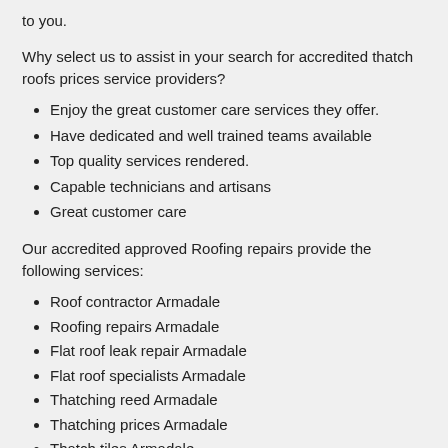to you.
Why select us to assist in your search for accredited thatch roofs prices service providers?
Enjoy the great customer care services they offer.
Have dedicated and well trained teams available
Top quality services rendered.
Capable technicians and artisans
Great customer care
Our accredited approved Roofing repairs provide the following services:
Roof contractor Armadale
Roofing repairs Armadale
Flat roof leak repair Armadale
Flat roof specialists Armadale
Thatching reed Armadale
Thatching prices Armadale
Thatch tiles Armadale
Bamboo thatching Armadale
Flat roof repairs Armadale
Slate roof repairs Armadale
Roof restorations Armadale
Thatched lapa prices Armadale
Thatch roofs prices Armadale
Thatched garden gazebos Armadale
Roof repair Armadale